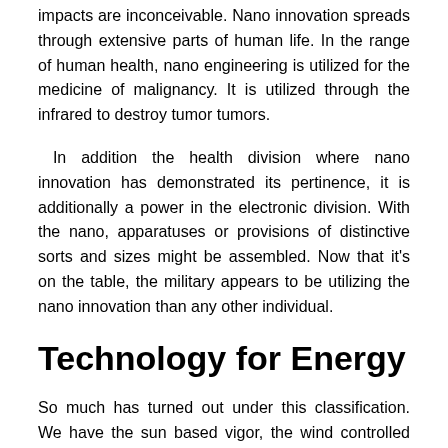impacts are inconceivable. Nano innovation spreads through extensive parts of human life. In the range of human health, nano engineering is utilized for the medicine of malignancy. It is utilized through the infrared to destroy tumor tumors.
In addition the health division where nano innovation has demonstrated its pertinence, it is additionally a power in the electronic division. With the nano, apparatuses or provisions of distinctive sorts and sizes might be assembled. Now that it's on the table, the military appears to be utilizing the nano innovation than any other individual.
Technology for Energy
So much has turned out under this classification. We have the sun based vigor, the wind controlled plants, hydrogen electric storage device innovation. These have demonstrated truly convenient set up of their elective advances. They have